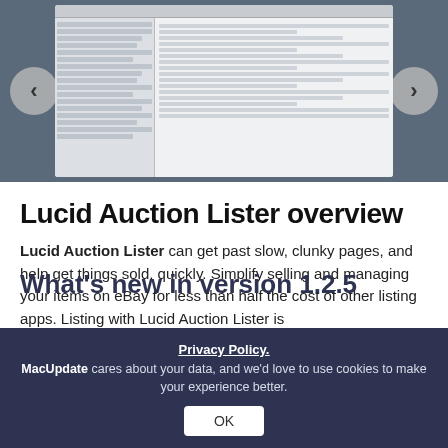[Figure (screenshot): Screenshot of Lucid Auction Lister app interface showing a Mac application with sidebar list of MacBook Pro products and a product detail dialog box, displayed against a dark macOS desktop background with navigation arrows on each side.]
Lucid Auction Lister overview
Lucid Auction Lister can get past slow, clunky pages, and help get things sold, quickly. Simplify selling and managing your items on eBay for less than half the cost of other listing apps. Listing with Lucid Auction Lister is
Read more
What's new in version 1.2.5
Privacy Policy.
MacUpdate cares about your data, and we'd love to use cookies to make your experience better.